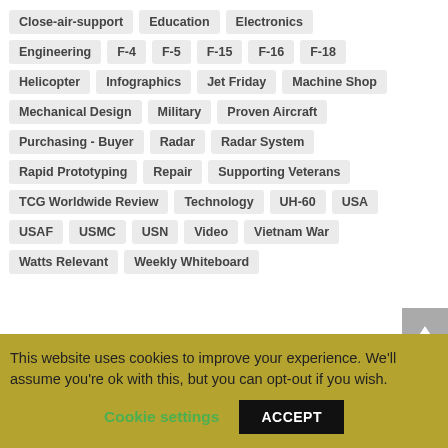Close-air-support
Education
Electronics
Engineering
F-4
F-5
F-15
F-16
F-18
Helicopter
Infographics
Jet Friday
Machine Shop
Mechanical Design
Military
Proven Aircraft
Purchasing - Buyer
Radar
Radar System
Rapid Prototyping
Repair
Supporting Veterans
TCG Worldwide Review
Technology
UH-60
USA
USAF
USMC
USN
Video
Vietnam War
Watts Relevant
Weekly Whiteboard
Our Latest Posts
This website uses cookies to improve your experience. We'll assume you're ok with this, but you can opt-out if you wish.
Cookie settings  ACCEPT